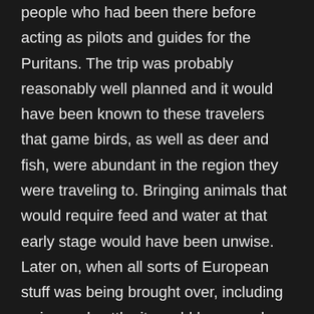people who had been there before acting as pilots and guides for the Puritans. The trip was probably reasonably well planned and it would have been known to these travelers that game birds, as well as deer and fish, were abundant in the region they were traveling to. Bringing animals that would require feed and water at that early stage would have been unwise. Later on, when all sorts of European stuff was being brought over, including swine and cattle, it would have made sense and it is quite possible that the Wild Turkey population of N...